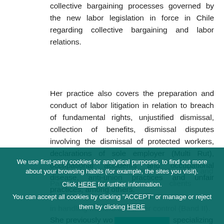collective bargaining processes governed by the new labor legislation in force in Chile regarding collective bargaining and labor relations.
Her practice also covers the preparation and conduct of labor litigation in relation to breach of fundamental rights, unjustified dismissal, collection of benefits, dismissal disputes involving the dismissal of protected workers, declarations of sole employer (Multi Rut), occupational accidents and occupational disease, anti-union practices and unfair practices, among others.
Barbara Vera was recognised by chambers and Partners in 2015 and by clients highlighting her effectiveness in handling matters under her control (Band II).
She previously worked [redacted] specializing in
We use first-party cookies for analytical purposes, to find out more about your browsing habits (for example, the sites you visit). Click HERE for further information. You can accept all cookies by clicking "ACCEPT" or manage or reject them by clicking HERE